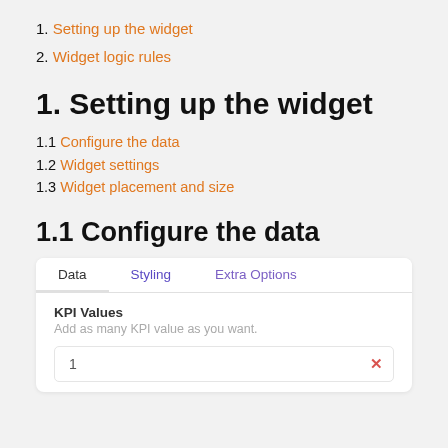1. Setting up the widget
2. Widget logic rules
1. Setting up the widget
1.1 Configure the data
1.2 Widget settings
1.3 Widget placement and size
1.1 Configure the data
[Figure (screenshot): UI panel showing tabs: Data (active), Styling (purple), Extra Options (purple). Below tabs: KPI Values section with label, description 'Add as many KPI value as you want.' and a row with number 1 and a red X button.]